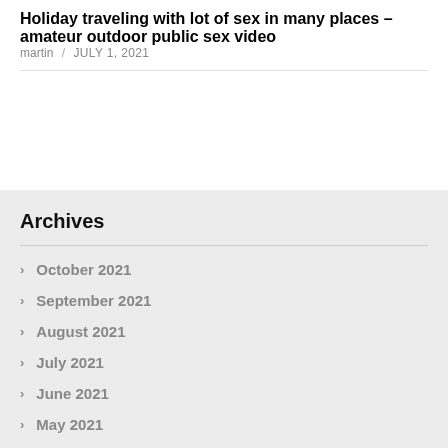Holiday traveling with lot of sex in many places – amateur outdoor public sex video
martin / JULY 1, 2021
Archives
October 2021
September 2021
August 2021
July 2021
June 2021
May 2021
April 2021